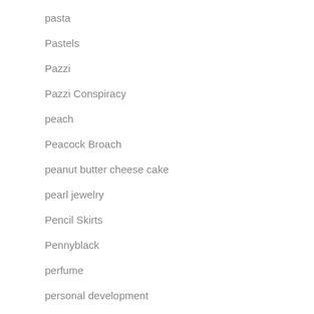pasta
Pastels
Pazzi
Pazzi Conspiracy
peach
Peacock Broach
peanut butter cheese cake
pearl jewelry
Pencil Skirts
Pennyblack
perfume
personal development
personal post
Pesach
Photo Contest